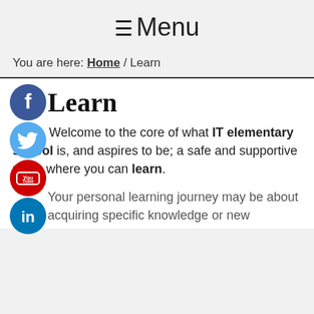≡Menu
You are here: Home / Learn
Learn
Welcome to the core of what IT elementary school is, and aspires to be; a safe and supportive place where you can learn.
Your personal learning journey may be about acquiring specific knowledge or new